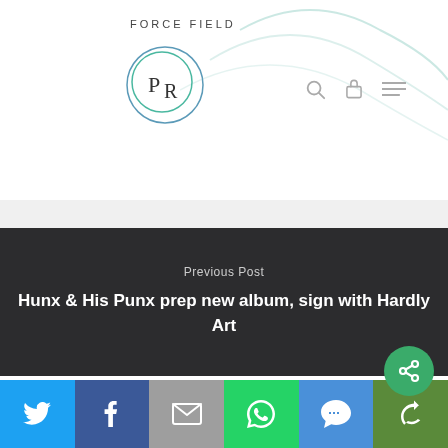[Figure (logo): Force Field PR logo with circular PR monogram and overlapping circles]
Previous Post
Hunx & His Punx prep new album, sign with Hardly Art
[Figure (infographic): Social share buttons bar: Twitter, Facebook, Email, WhatsApp, SMS, More]